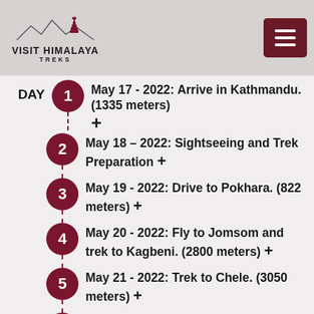VISIT HIMALAYA TREKS
DAY 1 — May 17 - 2022: Arrive in Kathmandu. (1335 meters) +
2 — May 18 – 2022: Sightseeing and Trek Preparation +
3 — May 19 - 2022: Drive to Pokhara. (822 meters) +
4 — May 20 - 2022: Fly to Jomsom and trek to Kagbeni. (2800 meters) +
5 — May 21 - 2022: Trek to Chele. (3050 meters) +
6 — May 22 - 2022: Trek to